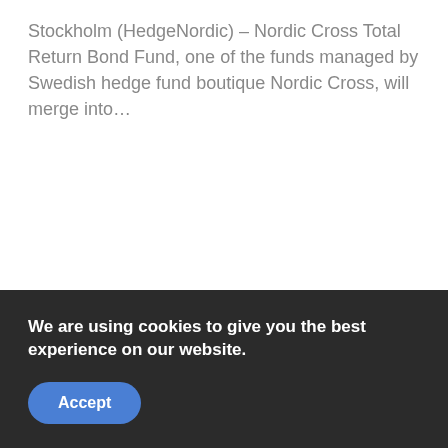Stockholm (HedgeNordic) – Nordic Cross Total Return Bond Fund, one of the funds managed by Swedish hedge fund boutique Nordic Cross, will merge into…
We are using cookies to give you the best experience on our website.